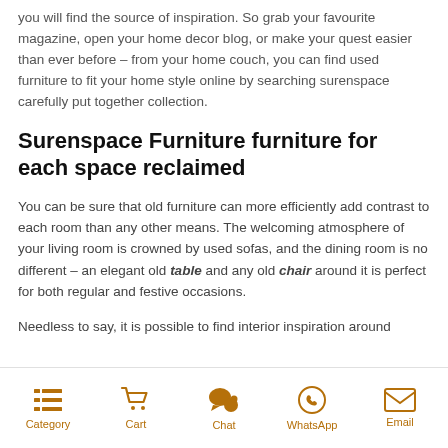you will find the source of inspiration. So grab your favourite magazine, open your home decor blog, or make your quest easier than ever before – from your home couch, you can find used furniture to fit your home style online by searching surenspace carefully put together collection.
Surenspace Furniture furniture for each space reclaimed
You can be sure that old furniture can more efficiently add contrast to each room than any other means. The welcoming atmosphere of your living room is crowned by used sofas, and the dining room is no different – an elegant old table and any old chair around it is perfect for both regular and festive occasions.
Needless to say, it is possible to find interior inspiration around
Category  Cart  Chat  WhatsApp  Email